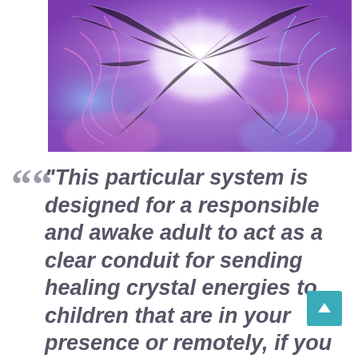[Figure (illustration): Abstract fractal/psychedelic art with purple, pink, blue and white colors, symmetrical mandala-like pattern suggesting energy or light]
“This particular system is designed for a responsible and awake adult to act as a clear conduit for sending healing crystal energies to children that are in your presence or remotely, if you have received permission to do so. This is the intentional asking of the higher self of the child, and then listening to